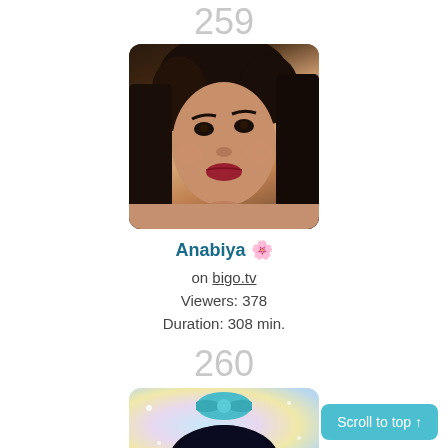259
[Figure (photo): Profile photo of a young woman with dark hair, wearing makeup with red lipstick, shown in a close-up selfie style photo with rounded corners.]
Anabiya 🌸
on bigo.tv
Viewers: 378
Duration: 308 min.
260
[Figure (photo): Partial view of a second streamer profile image showing a figure with a teal/cyan bow hair accessory against a colorful pastel background.]
Scroll to top ↑